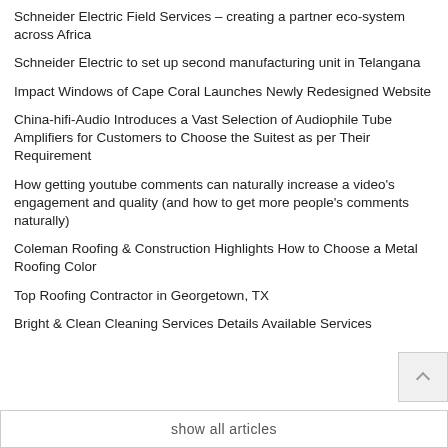Schneider Electric Field Services – creating a partner eco-system across Africa
Schneider Electric to set up second manufacturing unit in Telangana
Impact Windows of Cape Coral Launches Newly Redesigned Website
China-hifi-Audio Introduces a Vast Selection of Audiophile Tube Amplifiers for Customers to Choose the Suitest as per Their Requirement
How getting youtube comments can naturally increase a video's engagement and quality (and how to get more people's comments naturally)
Coleman Roofing & Construction Highlights How to Choose a Metal Roofing Color
Top Roofing Contractor in Georgetown, TX
Bright & Clean Cleaning Services Details Available Services
show all articles